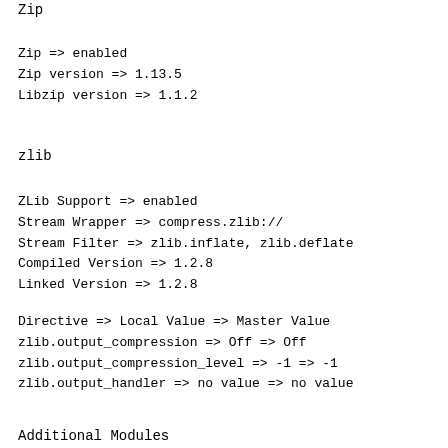Zip
Zip => enabled
Zip version => 1.13.5
Libzip version => 1.1.2
zlib
ZLib Support => enabled
Stream Wrapper => compress.zlib://
Stream Filter => zlib.inflate, zlib.deflate
Compiled Version => 1.2.8
Linked Version => 1.2.8
Directive => Local Value => Master Value
zlib.output_compression => Off => Off
zlib.output_compression_level => -1 => -1
zlib.output_handler => no value => no value
Additional Modules